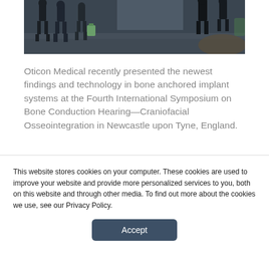[Figure (photo): Silhouettes of people walking in a conference hall or airport-like venue, dark and moody lighting]
Oticon Medical recently presented the newest findings and technology in bone anchored implant systems at the Fourth International Symposium on Bone Conduction Hearing—Craniofacial Osseointegration in Newcastle upon Tyne, England.
The multidisciplinary conference brought together
This website stores cookies on your computer. These cookies are used to improve your website and provide more personalized services to you, both on this website and through other media. To find out more about the cookies we use, see our Privacy Policy.
Accept